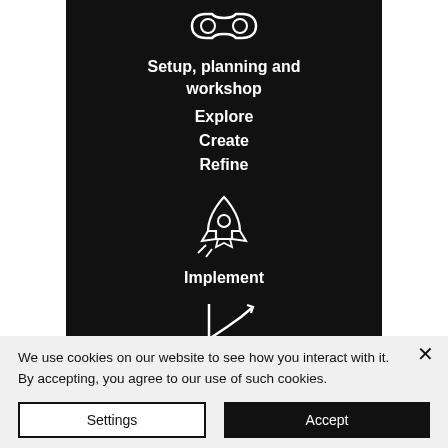[Figure (illustration): Screenshot of a website menu/navigation panel on a dark background showing icons and text labels for workflow steps: Setup planning and workshop, Explore, Create, Refine, rocket icon for Implement, and a chart icon at bottom. A cookie consent banner overlays the bottom portion with Settings and Accept buttons.]
Setup, planning and workshop
Explore
Create
Refine
Implement
We use cookies on our website to see how you interact with it. By accepting, you agree to our use of such cookies.
Settings
Accept